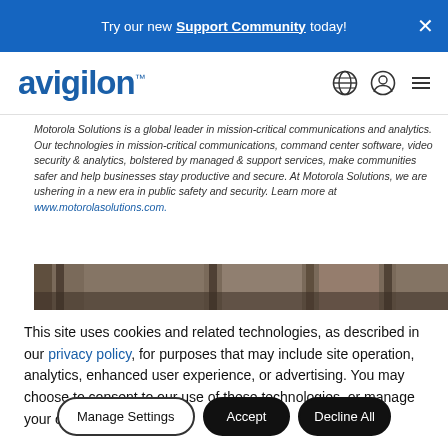Try our new Support Community today!
[Figure (logo): Avigilon logo in blue text]
Motorola Solutions is a global leader in mission-critical communications and analytics. Our technologies in mission-critical communications, command center software, video security & analytics, bolstered by managed & support services, make communities safer and help businesses stay productive and secure. At Motorola Solutions, we are ushering in a new era in public safety and security. Learn more at www.motorolasolutions.com.
[Figure (photo): Partial photo of a building interior/exterior with dark tones]
This site uses cookies and related technologies, as described in our privacy policy, for purposes that may include site operation, analytics, enhanced user experience, or advertising. You may choose to consent to our use of these technologies, or manage your own preferences.